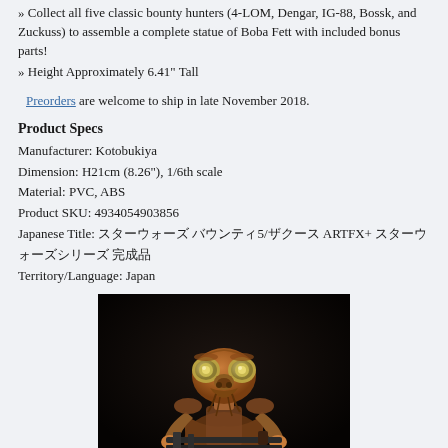» Collect all five classic bounty hunters (4-LOM, Dengar, IG-88, Bossk, and Zuckuss) to assemble a complete statue of Boba Fett with included bonus parts!
» Height Approximately 6.41" Tall
Preorders are welcome to ship in late November 2018.
Product Specs
Manufacturer: Kotobukiya
Dimension: H21cm (8.26"), 1/6th scale
Material: PVC, ABS
Product SKU: 4934054903856
Japanese Title: スターウォーズ バウンティ5/ザクース ARTFX+ スターウォーズシリーズ 完成品
Territory/Language: Japan
[Figure (photo): Product photo of Zuckuss bounty hunter figure from Star Wars, shown holding a weapon against a dark background. The alien figure has large insect-like compound eyes and a distinctive breathing apparatus.]